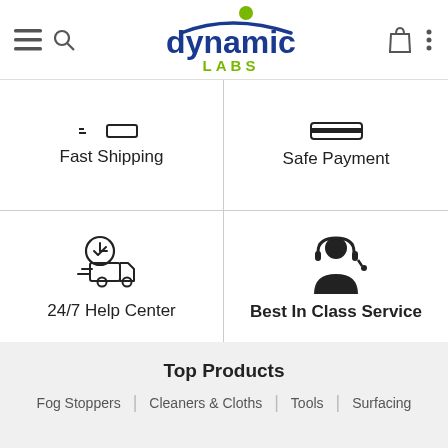[Figure (logo): Dynamic Labs logo with blue text 'dynamic' and green 'LABS' with green circle arc above]
[Figure (infographic): Four feature cells: Fast Shipping (truck with clock icon), Safe Payment (shield/card icon), 24/7 Help Center (delivery truck icon), Best In Class Service (customer service agent icon)]
Top Products
Fog Stoppers
Cleaners & Cloths
Tools
Surfacing